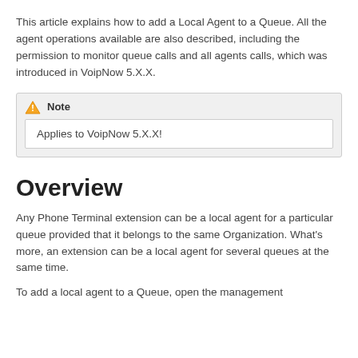This article explains how to add a Local Agent to a Queue. All the agent operations available are also described, including the permission to monitor queue calls and all agents calls, which was introduced in VoipNow 5.X.X.
Note — Applies to VoipNow 5.X.X!
Overview
Any Phone Terminal extension can be a local agent for a particular queue provided that it belongs to the same Organization. What's more, an extension can be a local agent for several queues at the same time.
To add a local agent to a Queue, open the management